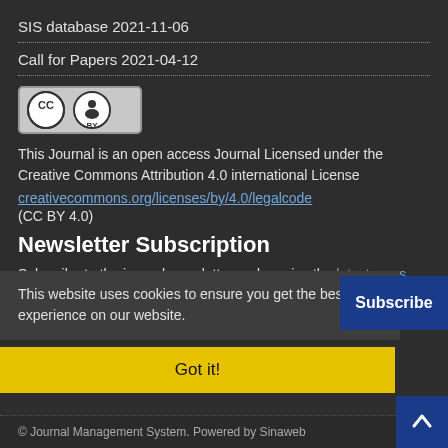SIS database 2021-11-06
Call for Papers 2021-04-12
[Figure (logo): Creative Commons BY license badge — CC circle logo with person icon and 'BY' text, gray/black on light background]
This Journal is an open access Journal Licensed under the Creative Commons Attribution 4.0 international License
[redacted CC link] (CC BY 4.0)
Newsletter Subscription
Subscribe to the journal newsletter and receive the latest news and updates
This website uses cookies to ensure you get the best experience on our website.
Got it!
© Journal Management System. Powered by Sinaweb